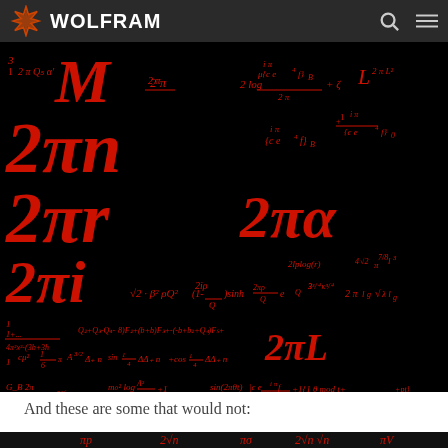WOLFRAM
[Figure (illustration): Black background image filled with red mathematical formulas and expressions including 2πn, 2πr, 2πi, 2πα, M, 2πL, and many complex mathematical expressions involving trigonometric functions, logarithms, and other mathematical notation]
And these are some that would not:
[Figure (illustration): Bottom strip showing red mathematical formulas on black background including πp, 2√n, πσ, 2√n√n, πV]